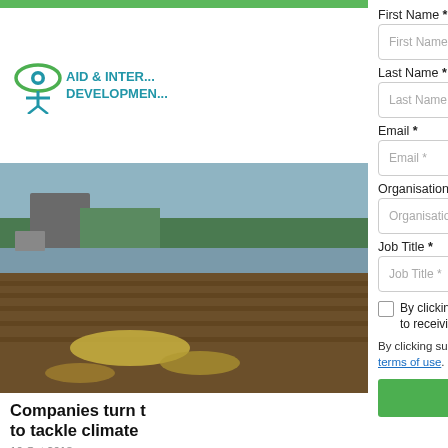[Figure (logo): Aid & International Development logo with figure/eye icon]
[Figure (photo): Farm/agricultural field photo showing machinery and soil with crop debris]
First Name *
Last Name *
Email *
Organisation *
Job Title *
By clicking here you accept our Privacy Policy and agree to receiving our newsletter
By clicking submit you are consenting to our privacy policy and terms of use.
Subscribe
Companies turn t to tackle climate
10 Oct 2018
With the recent re...